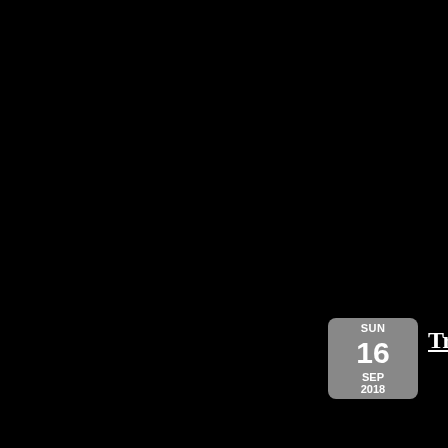[Figure (other): Black background with a calendar badge showing SUN 16 SEP 2018 in grey, and partial white underlined text 'Truus Eng' visible at the right edge]
SUN 16 SEP 2018
Truus Eng